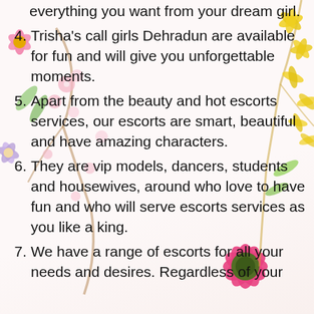everything you want from your dream girl.
4. Trisha's call girls Dehradun are available for fun and will give you unforgettable moments.
5. Apart from the beauty and hot escorts services, our escorts are smart, beautiful and have amazing characters.
6. They are vip models, dancers, students and housewives, around who love to have fun and who will serve escorts services as you like a king.
7. We have a range of escorts for all your needs and desires. Regardless of your